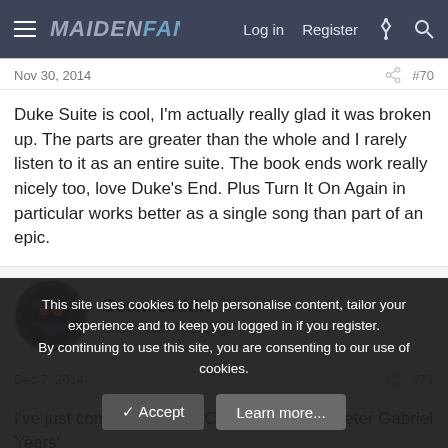MaidenFans — Log in  Register
Nov 30, 2014   #70
Duke Suite is cool, I'm actually really glad it was broken up. The parts are greater than the whole and I rarely listen to it as an entire suite. The book ends work really nicely too, love Duke's End. Plus Turn It On Again in particular works better as a single song than part of an epic.
Cosmiceddie
Back From The Edge
Dec 7, 2014   #71
I've just compiled a 'Best Of Genesis: The Peter Gabriel Years'
This site uses cookies to help personalise content, tailor your experience and to keep you logged in if you register.
By continuing to use this site, you are consenting to our use of cookies.